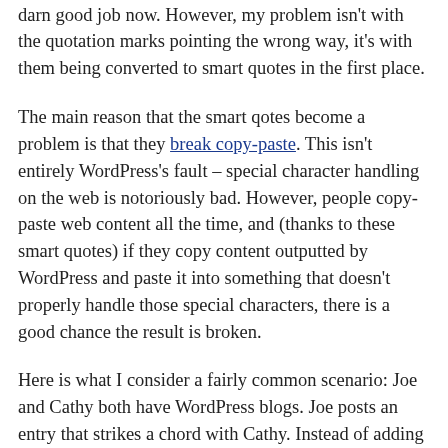matter. Though it was a little unreliable at getting the quotes pointed the right way early on, it does a pretty darn good job now. However, my problem isn't with the quotation marks pointing the wrong way, it's with them being converted to smart quotes in the first place.
The main reason that the smart qotes become a problem is that they break copy-paste. This isn't entirely WordPress's fault – special character handling on the web is notoriously bad. However, people copy-paste web content all the time, and (thanks to these smart quotes) if they copy content outputted by WordPress and paste it into something that doesn't properly handle those special characters, there is a good chance the result is broken.
Here is what I consider a fairly common scenario: Joe and Cathy both have WordPress blogs. Joe posts an entry that strikes a chord with Cathy. Instead of adding a comment, Cathy decides to write her own entry and send a trackback. In her entry, she copies a section of